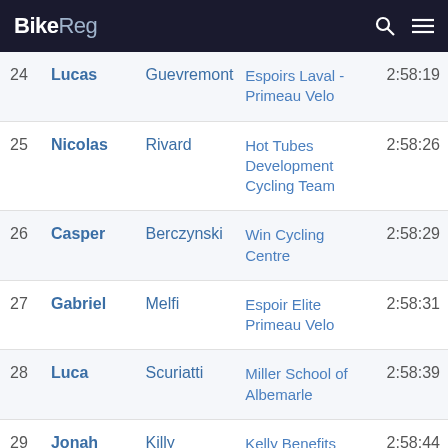BikeReg
| # | First | Last | Team | Time |
| --- | --- | --- | --- | --- |
| 24 | Lucas | Guevremont | Espoirs Laval - Primeau Velo | 2:58:19 |
| 25 | Nicolas | Rivard | Hot Tubes Development Cycling Team | 2:58:26 |
| 26 | Casper | Berczynski | Win Cycling Centre | 2:58:29 |
| 27 | Gabriel | Melfi | Espoir Elite Primeau Velo | 2:58:31 |
| 28 | Luca | Scuriatti | Miller School of Albemarle | 2:58:39 |
| 29 | Jonah | Killy | Kelly Benefits Strategies/Lateral Stress | 2:58:44 |